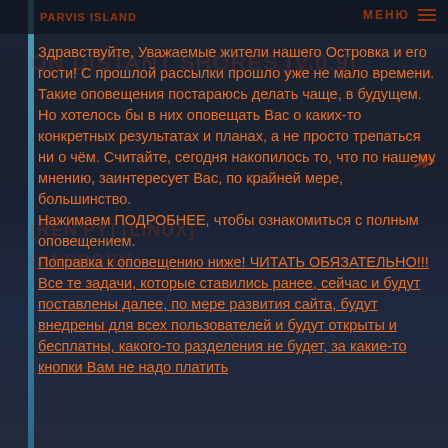PARVIS ISLAND   МЕНЮ
Здравствуйте, Уважаемые жители нашего Островка и его гости! С прошлой рассылки прошло уже не мало времени. Такие оповещения постараюсь делать чаще, в будущем. Но хотелось бы в них оповещать Вас о каких-то конкретных результатах и планах, а не просто трепаться ни о чём. Считайте, сегодня накопилось то, что по нашему мнению, заинтересует Вас, по крайней мере, большинство.
Нажимаем ПОДРОБНЕЕ, чтобы ознакомиться с полным оповещением.
Поправка к оповещению ниже! ЧИТАТЬ ОБЯЗАТЕЛЬНО!!! Все те задачи, которые ставились ранее, сейчас и будут поставлены далее, по мере развития сайта, будут внедрены для всех пользователей и будут открыты и бесплатны, какого-то разделения не будет, за какие-то кнопки Вам не надо платить